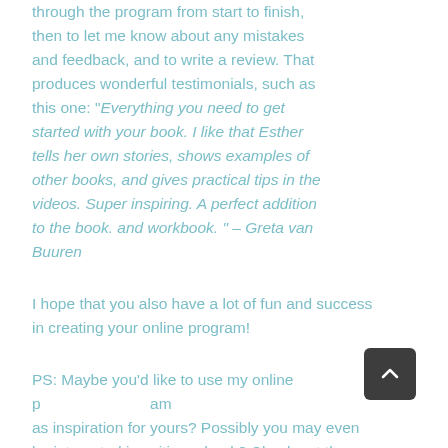through the program from start to finish, then to let me know about any mistakes and feedback, and to write a review. That produces wonderful testimonials, such as this one: "Everything you need to get started with your book. I like that Esther tells her own stories, shows examples of other books, and gives practical tips in the videos. Super inspiring. A perfect addition to the book. and workbook. " – Greta van Buuren
I hope that you also have a lot of fun and success in creating your online program!
PS: Maybe you'd like to use my online program as inspiration for yours? Possibly you may even be interested in writing a book? Check out the